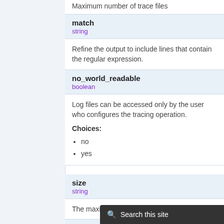Maximum number of trace files
match
string
Refine the output to include lines that contain the regular expression.
no_world_readable
boolean
Log files can be accessed only by the user who configures the tracing operation.
Choices:
no
yes
size
string
The maximum tracefile size
world_readable